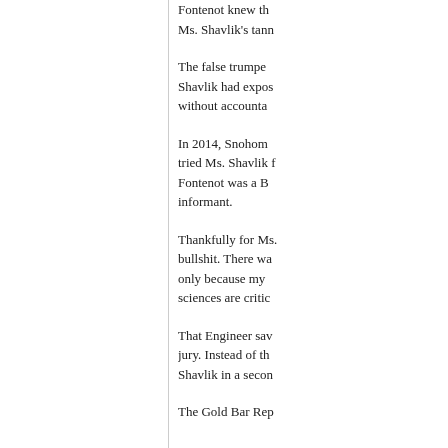Fontenot knew th... Ms. Shavlik's tann...
The false trumpe... Shavlik had expos... without accounta...
In 2014, Snohom... tried Ms. Shavlik f... Fontenot was a B... informant.
Thankfully for Ms.... bullshit. There wa... only because my ... sciences are critic...
That Engineer sav... jury. Instead of th... Shavlik in a secon...
The Gold Bar Rep...